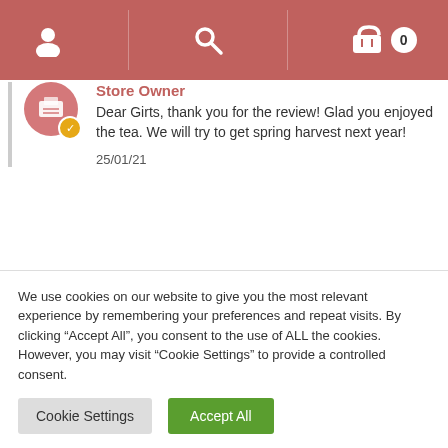Navigation bar with user icon, search icon, and cart (0)
Store Owner
Dear Girts, thank you for the review! Glad you enjoyed the tea. We will try to get spring harvest next year!
25/01/21
RELATED PRODUCTS
We use cookies on our website to give you the most relevant experience by remembering your preferences and repeat visits. By clicking “Accept All”, you consent to the use of ALL the cookies. However, you may visit “Cookie Settings” to provide a controlled consent.
Cookie Settings | Accept All